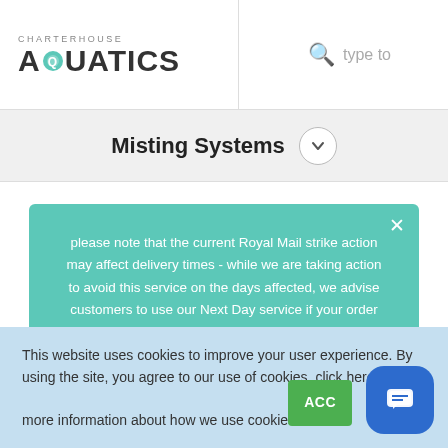CHARTERHOUSE AQUATICS
Misting Systems
please note that the current Royal Mail strike action may affect delivery times - while we are taking action to avoid this service on the days affected, we advise customers to use our Next Day service if your order is urgent
This website uses cookies to improve your user experience. By using the site, you agree to our use of cookies. click here for more information about how we use cookies.